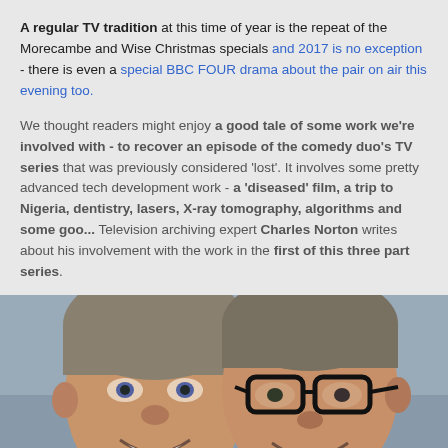A regular TV tradition at this time of year is the repeat of the Morecambe and Wise Christmas specials and 2017 is no exception - there is even a special BBC FOUR drama about the pair on air this evening too.
We thought readers might enjoy a good tale of some work we're involved with - to recover an episode of the comedy duo's TV series that was previously considered 'lost'. It involves some pretty advanced tech development work - a 'diseased' film, a trip to Nigeria, dentistry, lasers, X-ray tomography, algorithms and some goo... Television archiving expert Charles Norton writes about his involvement with the work in the first of this three part series.
[Figure (photo): Black and white / colour photo of two smiling men (Morecambe and Wise), one on the left without glasses and one on the right wearing thick black-rimmed glasses, both wearing suits, posing close together.]